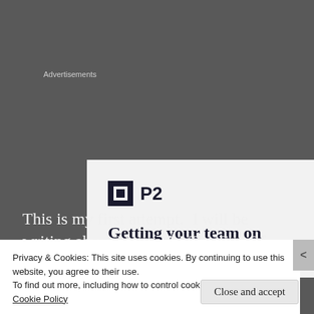Advertisements
[Figure (screenshot): Advertisement box with P2 logo and tagline 'Getting your team on']
This is my first attempt.  I will be writing about Neurosis' The Eye Of Every Storm.
Privacy & Cookies: This site uses cookies. By continuing to use this website, you agree to their use.
To find out more, including how to control cookies, see here:
Cookie Policy
Close and accept